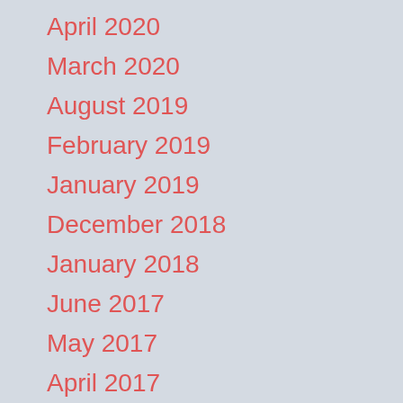April 2020
March 2020
August 2019
February 2019
January 2019
December 2018
January 2018
June 2017
May 2017
April 2017
March 2017
January 2017
September 2016